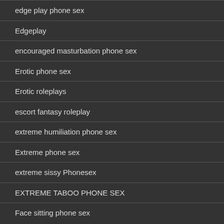edge play phone sex
Edgeplay
encouraged masturbation phone sex
Erotic phone sex
Erotic roleplays
escort fantasy roleplay
extreme humiliation phone sex
Extreme phone sex
extreme sissy Phonesex
EXTREME TABOO PHONE SEX
Face sitting phone sex